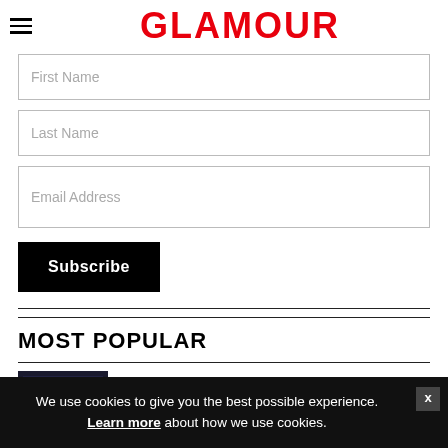GLAMOUR
First Name
Last Name
Email Address
Subscribe
MOST POPULAR
We use cookies to give you the best possible experience. Learn more about how we use cookies.
explosive debate around rape culture